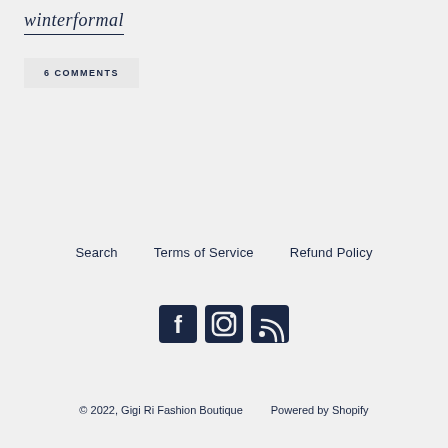winterformal
6 COMMENTS
Search   Terms of Service   Refund Policy
[Figure (infographic): Social media icons: Facebook, Instagram, RSS feed]
© 2022, Gigi Ri Fashion Boutique   Powered by Shopify